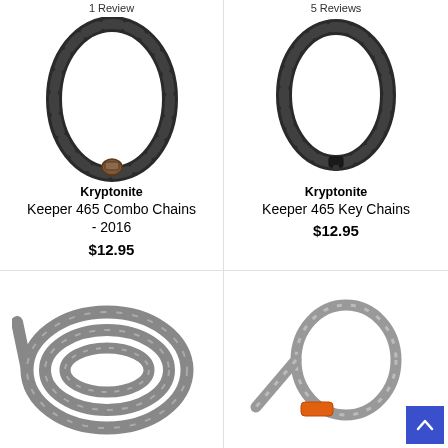1 Review
[Figure (photo): Kryptonite Keeper 465 Combo Chain lock - black chain]
Kryptonite
Keeper 465 Combo Chains - 2016
$12.95
5 Reviews
[Figure (photo): Kryptonite Keeper 465 Key Chain lock - black chain]
Kryptonite
Keeper 465 Key Chains
$12.95
[Figure (photo): Grey coiled cable lock]
[Figure (photo): Grey cable with orange accent loop lock]